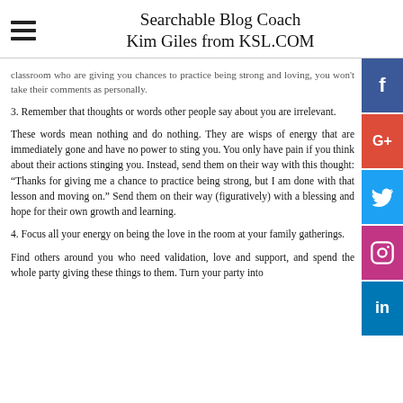Searchable Blog Coach Kim Giles from KSL.COM
classroom who are giving you chances to practice being strong and loving, you won't take their comments as personally.
3. Remember that thoughts or words other people say about you are irrelevant.
These words mean nothing and do nothing. They are wisps of energy that are immediately gone and have no power to sting you. You only have pain if you think about their actions stinging you. Instead, send them on their way with this thought: “Thanks for giving me a chance to practice being strong, but I am done with that lesson and moving on.” Send them on their way (figuratively) with a blessing and hope for their own growth and learning.
4. Focus all your energy on being the love in the room at your family gatherings.
Find others around you who need validation, love and support, and spend the whole party giving these things to them. Turn your party into